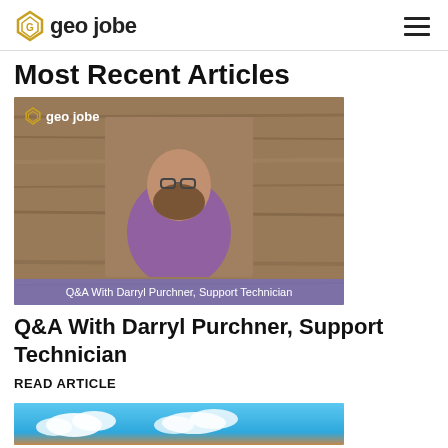geo jobe
Most Recent Articles
[Figure (photo): Article thumbnail image showing a bearded man in a purple shirt standing in front of a wooden wall background, with geo jobe logo overlay and caption bar reading 'Q&A With Darryl Purchner, Support Technician']
Q&A With Darryl Purchner, Support Technician
READ ARTICLE
[Figure (photo): Partial view of a second article thumbnail showing a blue sky with clouds]